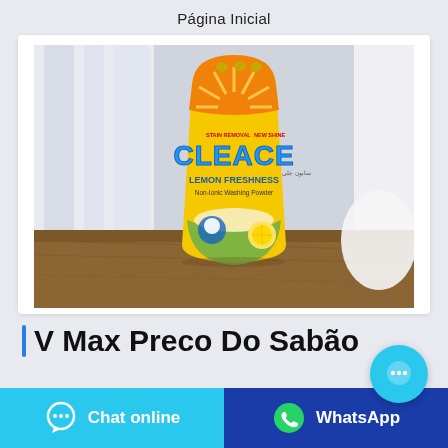Página Inicial
[Figure (photo): Product photo of a yellow bag of CLEACE Lemon Freshness washing powder, placed on a wooden surface with white curtains in the background.]
V Max Preco Do Sabão
Chat online
WhatsApp